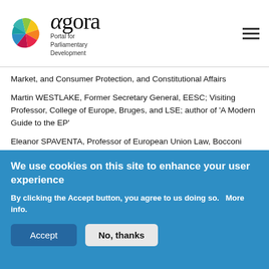[Figure (logo): Agora Portal for Parliamentary Development logo with colorful fan/pinwheel graphic and stylized text]
Market, and Consumer Protection, and Constitutional Affairs
Martin WESTLAKE, Former Secretary General, EESC; Visiting Professor, College of Europe, Bruges, and LSE; author of 'A Modern Guide to the EP'
Eleanor SPAVENTA, Professor of European Union Law, Bocconi Law School, Milan
We use cookies on this site to enhance your user experience
By clicking the Accept button, you agree to us doing so.   More info.